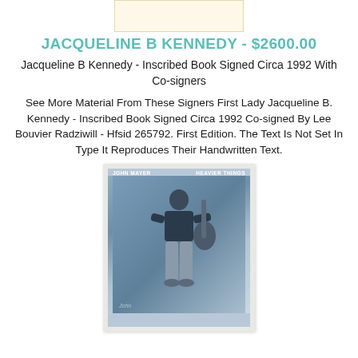[Figure (photo): Small rectangular image placeholder with light cream/beige background, likely a book cover thumbnail]
JACQUELINE B KENNEDY - $2600.00
Jacqueline B Kennedy - Inscribed Book Signed Circa 1992 With Co-signers
See More Material From These Signers First Lady Jacqueline B. Kennedy - Inscribed Book Signed Circa 1992 Co-signed By Lee Bouvier Radziwill - Hfsid 265792. First Edition. The Text Is Not Set In Type It Reproduces Their Handwritten Text.
[Figure (photo): John Mayer Heavier Things album cover showing a man standing holding a guitar, blue-toned photograph with white border/frame]